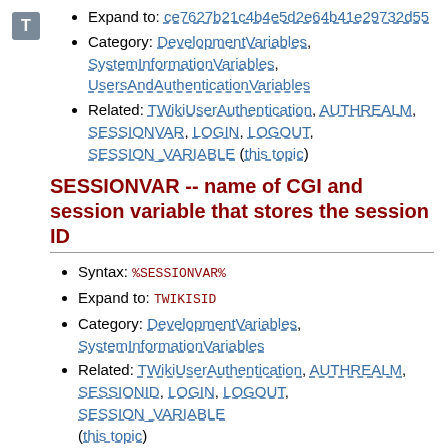[Figure (logo): T icon, grey square with white T letter]
Expand to: ce7627b21c4b4e5d2e64b41e29732d55
Category: DevelopmentVariables, SystemInformationVariables, UsersAndAuthenticationVariables
Related: TWikiUserAuthentication, AUTHREALM, SESSIONVAR, LOGIN, LOGOUT, SESSION_VARIABLE (this topic)
SESSIONVAR -- name of CGI and session variable that stores the session ID
Syntax: %SESSIONVAR%
Expand to: TWIKISID
Category: DevelopmentVariables, SystemInformationVariables
Related: TWikiUserAuthentication, AUTHREALM, SESSIONID, LOGIN, LOGOUT, SESSION_VARIABLE (this topic)
SESSION_VARIABLE -- get, set or clear a session variable
Session variables are stored in a personal "persistent